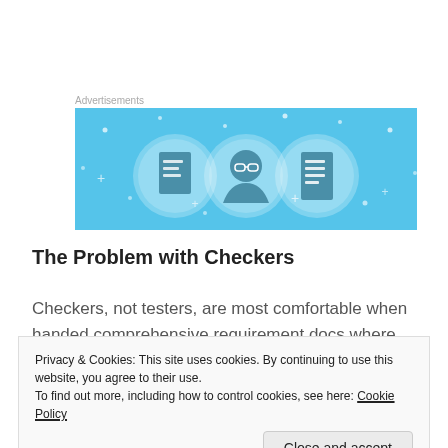Advertisements
[Figure (illustration): Advertisement banner with light blue background showing three circular icon illustrations: a document/book icon, a person with glasses icon, and a list/checklist icon with sparkle decorations]
The Problem with Checkers
Checkers, not testers, are most comfortable when handed comprehensive requirement docs where every
Privacy & Cookies: This site uses cookies. By continuing to use this website, you agree to their use.
To find out more, including how to control cookies, see here: Cookie Policy
power. And as a result, a checker's cognitive capacities